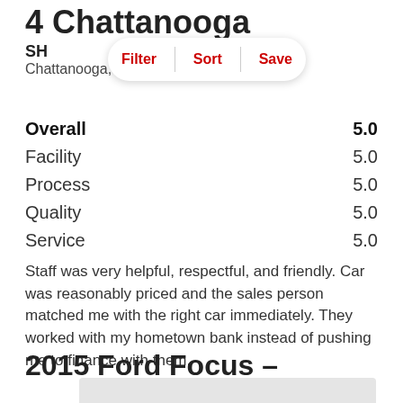4 Chattanooga
SH
Chattanooga,
[Figure (screenshot): Filter | Sort | Save button bar with rounded pill shape and red text on white background]
| Category | Score |
| --- | --- |
| Overall | 5.0 |
| Facility | 5.0 |
| Process | 5.0 |
| Quality | 5.0 |
| Service | 5.0 |
Staff was very helpful, respectful, and friendly. Car was reasonably priced and the sales person matched me with the right car immediately. They worked with my hometown bank instead of pushing me to finance with them.
2015 Ford Focus –
[Figure (photo): Gray placeholder image at the bottom of the page]